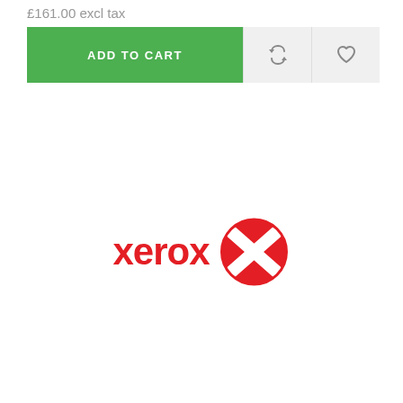£161.00 excl tax
[Figure (screenshot): Add to Cart button (green) with repeat/refresh icon button and heart/wishlist icon button in light grey]
[Figure (logo): Xerox logo with red wordmark 'xerox' and red globe icon with white X cross stripes]